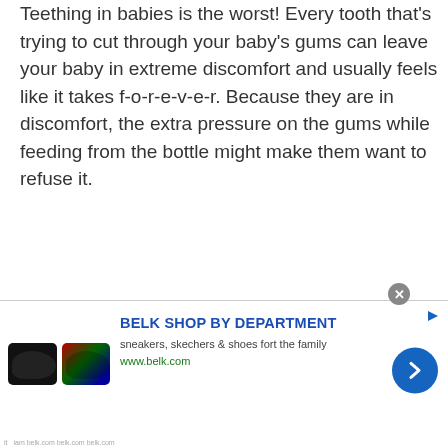Teething in babies is the worst! Every tooth that's trying to cut through your baby's gums can leave your baby in extreme discomfort and usually feels like it takes f-o-r-e-v-e-r. Because they are in discomfort, the extra pressure on the gums while feeding from the bottle might make them want to refuse it.
[Figure (screenshot): Advertisement banner for Belk Shop by Department featuring sneakers and shoes, with product images, title text, subtitle, URL, and a blue arrow button.]